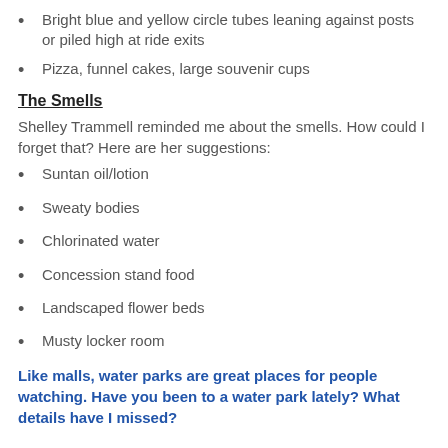Bright blue and yellow circle tubes leaning against posts or piled high at ride exits
Pizza, funnel cakes, large souvenir cups
The Smells
Shelley Trammell reminded me about the smells. How could I forget that? Here are her suggestions:
Suntan oil/lotion
Sweaty bodies
Chlorinated water
Concession stand food
Landscaped flower beds
Musty locker room
Like malls, water parks are great places for people watching. Have you been to a water park lately? What details have I missed?